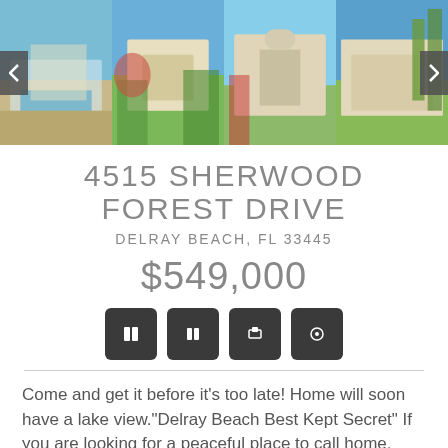[Figure (photo): Photo strip carousel showing exterior and pool views of a single-story ranch home in Delray Beach, FL, with navigation arrows on left and right.]
4515 SHERWOOD FOREST DRIVE
DELRAY BEACH, FL 33445
$549,000
[Figure (other): Four dark icon buttons (social share / contact icons)]
Come and get it before it's too late! Home will soon have a lake view."Delray Beach Best Kept Secret" If you are looking for a peaceful place to call home, look no further! This spacious, one-story ranch home has 3 BD/2 BA/2CG with a split floor plan, high ceilings